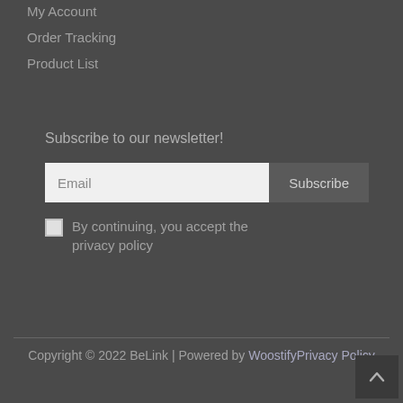My Account
Order Tracking
Product List
Subscribe to our newsletter!
Email
Subscribe
By continuing, you accept the privacy policy
Copyright © 2022 BeLink | Powered by WoostifyPrivacy Policy